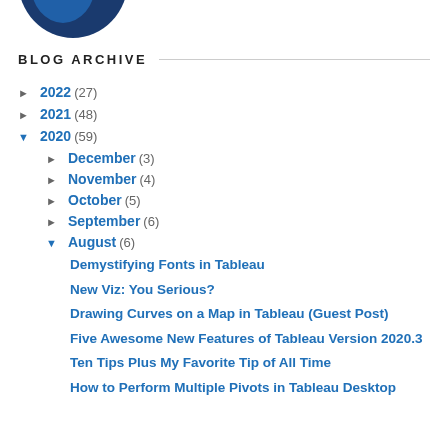[Figure (logo): Partial circular logo/image, dark blue, cropped at top of page]
BLOG ARCHIVE
► 2022 (27)
► 2021 (48)
▼ 2020 (59)
► December (3)
► November (4)
► October (5)
► September (6)
▼ August (6)
Demystifying Fonts in Tableau
New Viz: You Serious?
Drawing Curves on a Map in Tableau (Guest Post)
Five Awesome New Features of Tableau Version 2020.3
Ten Tips Plus My Favorite Tip of All Time
How to Perform Multiple Pivots in Tableau Desktop